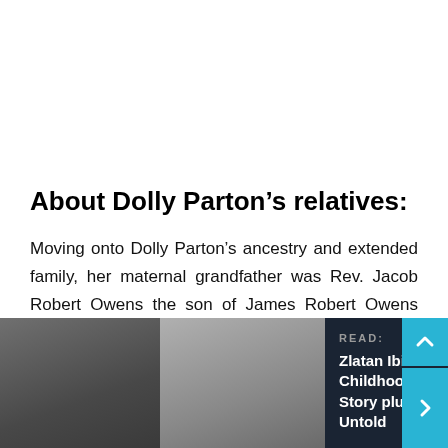About Dolly Parton’s relatives:
Moving onto Dolly Parton’s ancestry and extended family, her maternal grandfather was Rev. Jacob Robert Owens the son of James Robert Owens and Mary Malinda Messer while her maternal grandmother was Rena A.
[Figure (photo): Promotional banner showing two people wearing sunglasses with a dark overlay, text reading 'READ: Zlatan Ibile Childhood Story plus Untold' and a cyan arrow button]